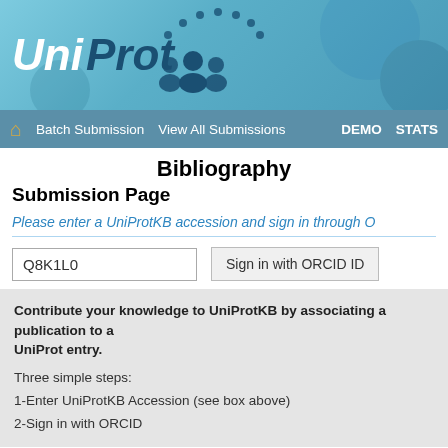[Figure (logo): UniProt logo with blue banner header, dots arc, and people icon]
Batch Submission  View All Submissions  DEMO  STATS
Bibliography
Submission Page
Please enter a UniProtKB accession and sign in through O…
Q8K1L0  Sign in with ORCID ID
Contribute your knowledge to UniProtKB by associating a publication with a UniProt entry.
Three simple steps:
1-Enter UniProtKB Accession (see box above)
2-Sign in with ORCID